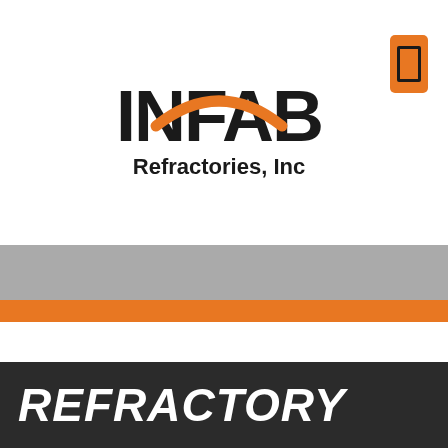[Figure (logo): INFAB Refractories, Inc logo with bold black INFAB text and orange swoosh arc, with an orange rectangle icon to the right]
REFRACTORY